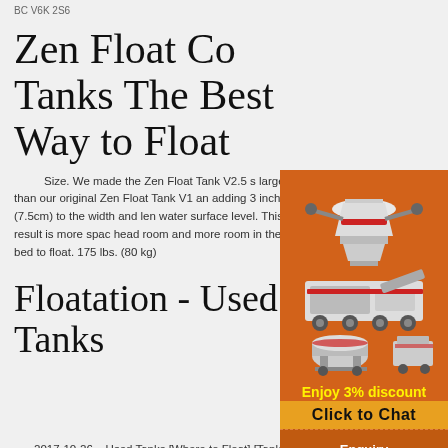BC V6K 2S6
Zen Float Co Tanks The Best Way to Float
Size. We made the Zen Float Tank V2.5 s... larger than our original Zen Float Tank V1 and... adding 3 inches (7.5cm) to the width and leng... water surface level. This result is more space... head room and more room in the bed to float. 175 lbs. (80 kg)
[Figure (illustration): Industrial mining/crushing machines on orange background with 'Enjoy 3% discount' and 'Click to Chat' buttons, Enquiry section, and email limingjlmofen@sina.com]
Floatation - Used Tanks
2017-10-26   Used Tanks [Where to Float] [Tank Manufacturers] [Used Tanks] [Tanks in the Media]